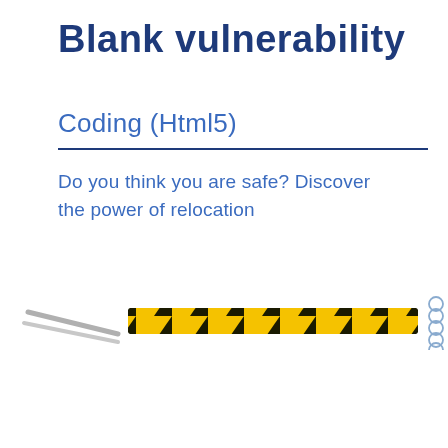Blank vulnerability
Coding (Html5)
Do you think you are safe? Discover the power of relocation
[Figure (illustration): Hazard warning stripe bar in black and yellow diagonal stripes, with a grey double-line icon on the left side. Five circle/pin icons on the right side.]